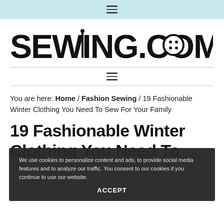≡ (hamburger menu icon)
[Figure (logo): SEWING.COM logo in bold black text with needle and button replacing letters]
You are here: Home / Fashion Sewing / 19 Fashionable Winter Clothing You Need To Sew For Your Family
We use cookies to personalize content and ads, to provide social media features and to analyze our traffic. You consent to our cookies if you continue to use our website.
ACCEPT
19 Fashionable Winter Clothing You Need To